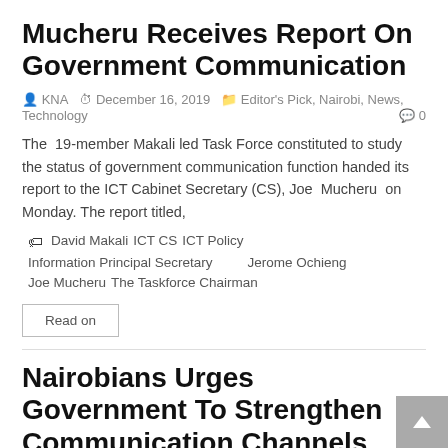Mucheru Receives Report On Government Communication
KNA  December 16, 2019  Editor's Pick, Nairobi, News, Technology  0
The 19-member Makali led Task Force constituted to study the status of government communication function handed its report to the ICT Cabinet Secretary (CS), Joe Mucheru on Monday. The report titled,
David Makali  ICT CS  ICT Policy  Information Principal Secretary  Jerome Ochieng  Joe Mucheru  The Taskforce Chairman
Read on
Nairobians Urges Government To Strengthen Communication Channels